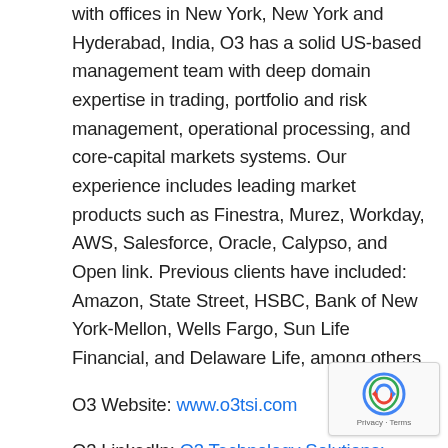with offices in New York, New York and Hyderabad, India, O3 has a solid US-based management team with deep domain expertise in trading, portfolio and risk management, operational processing, and core-capital markets systems. Our experience includes leading market products such as Finestra, Murez, Workday, AWS, Salesforce, Oracle, Calypso, and Open link. Previous clients have included: Amazon, State Street, HSBC, Bank of New York-Mellon, Wells Fargo, Sun Life Financial, and Delaware Life, among others.
O3 Website: www.o3tsi.com
O3 LinkedIn: O3 Technology Solutions: Overview | LinkedIn